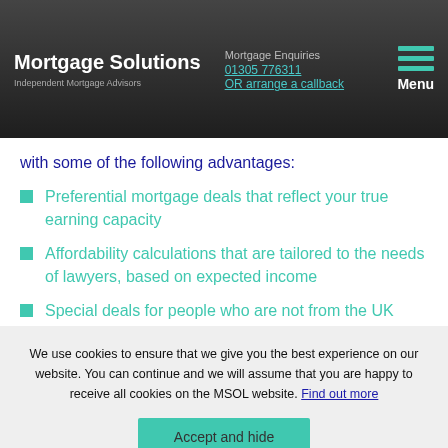Mortgage Solutions | Independent Mortgage Advisors | Mortgage Enquiries 01305 776311 OR arrange a callback | Menu
with some of the following advantages:
Preferential mortgage deals that reflect your true earning capacity
Affordability calculations that are tailored to the needs of lawyers, based on expected income
Special deals for people who are not from the UK
We use cookies to ensure that we give you the best experience on our website. You can continue and we will assume that you are happy to receive all cookies on the MSOL website. Find out more
Accept and hide